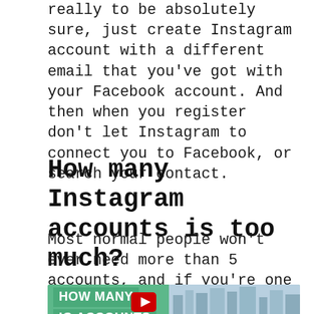really to be absolutely sure, just create Instagram account with a different email that you've got with your Facebook account. And then when you register don't let Instagram to connect you to Facebook, or search your contact.
How many Instagram accounts is too much?
Most normal people won't ever need more than 5 accounts, and if you're one of these people, you can stop reading now.
[Figure (screenshot): Thumbnail image for a video titled 'HOW MANY IG ACCOUNTS SHOULD...' with a woman smiling, city background, and a YouTube play button overlay]